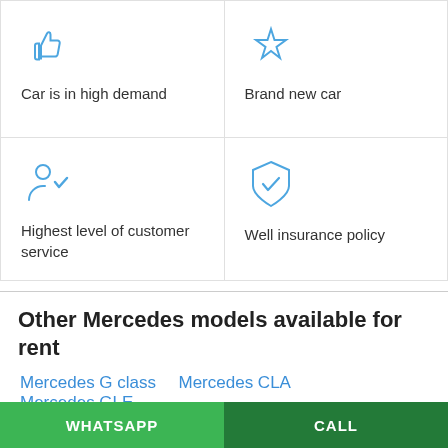[Figure (infographic): 2x2 grid of feature icons with labels: thumbs-up (Car is in high demand), star (Brand new car), person-with-checkmark (Highest level of customer service), shield-with-checkmark (Well insurance policy)]
Other Mercedes models available for rent
Mercedes G class   Mercedes CLA   Mercedes GLE
Mercedes A Class   Mercedes E Class
Mercedes V Class   Mercedes C Class   Mercedes GT
Mercedes GLC (partially visible)
WHATSAPP   CALL